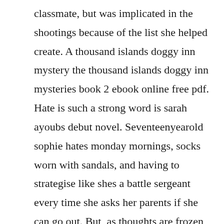classmate, but was implicated in the shootings because of the list she helped create. A thousand islands doggy inn mystery the thousand islands doggy inn mysteries book 2 ebook online free pdf. Hate is such a strong word is sarah ayoubs debut novel. Seventeenyearold sophie hates monday mornings, socks worn with sandals, and having to strategise like shes a battle sergeant every time she asks her parents if she can go out. But, as thoughts are frozen and utterance benumbed, unless the.